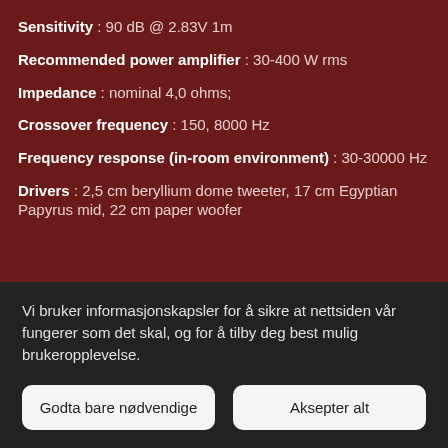Sensitivity : 90 dB @ 2.83V 1m
Recommended power amplifier : 30-400 W rms
Impedance : nominal 4,0 ohms;
Crossover frequency : 150, 8000 Hz
Frequency response (in-room environment) : 30-30000 Hz
Drivers : 2,5 cm beryllium dome tweeter, 17 cm Egyptian Papyrus mid, 22 cm paper woofer
Vi bruker informasjonskapsler for å sikre at nettsiden vår fungerer som det skal, og for å tilby deg best mulig brukeropplevelse.
Godta bare nødvendige
Aksepter alt